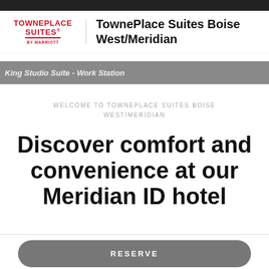[Figure (logo): TownePlace Suites by Marriott logo in red]
TownePlace Suites Boise West/Meridian
[Figure (photo): King Studio Suite - Work Station image banner]
WELCOME TO TOWNEPLACE SUITES BOISE WEST/MERIDIAN
Discover comfort and convenience at our Meridian ID hotel
RESERVE